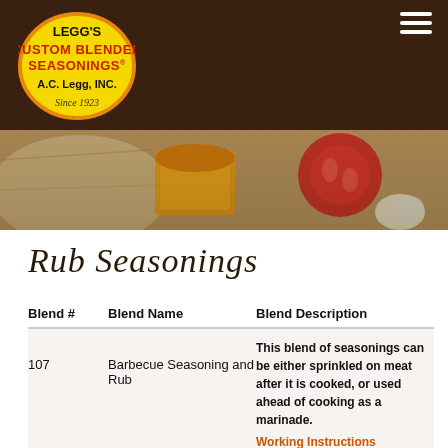[Figure (logo): Legg's Custom Blended Seasonings A.C. Legg INC. Since 1923 logo on dark wood background header banner]
[Figure (photo): Spice photo strip showing orange ground spice in glass container, red tomato slices, garlic, on wooden surface]
Rub Seasonings
| Blend # | Blend Name | Blend Description |
| --- | --- | --- |
| 107 | Barbecue Seasoning and Rub | This blend of seasonings can be either sprinkled on meat after it is cooked, or used ahead of cooking as a marinade.
Working Instructions |
|  |  | This rub will remind you of a St. Louis, Memphis, and Southern Barbecue all in one |